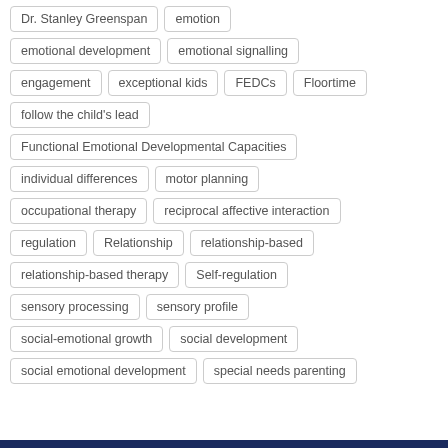Dr. Stanley Greenspan
emotion
emotional development
emotional signalling
engagement
exceptional kids
FEDCs
Floortime
follow the child's lead
Functional Emotional Developmental Capacities
individual differences
motor planning
occupational therapy
reciprocal affective interaction
regulation
Relationship
relationship-based
relationship-based therapy
Self-regulation
sensory processing
sensory profile
social-emotional growth
social development
social emotional development
special needs parenting